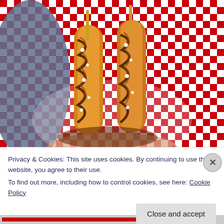[Figure (photo): A hand holding two corn dogs on sticks in a red and white checkered paper basket/tray. The corn dogs are golden-brown and drizzled with dark sauce and topped with white crumbles (possibly cheese or powdered sugar).]
Privacy & Cookies: This site uses cookies. By continuing to use this website, you agree to their use.
To find out more, including how to control cookies, see here: Cookie Policy
Close and accept